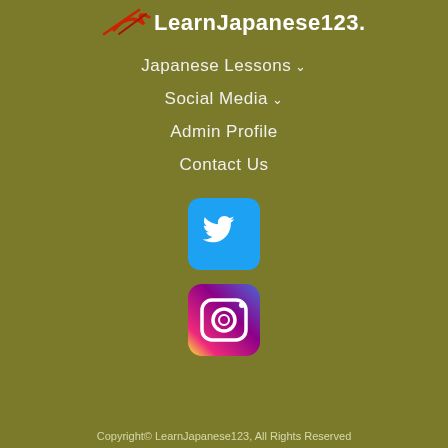[Figure (logo): LearnJapanese123.com logo with red brush stroke and white text on olive background]
Japanese Lessons ▾
Social Media ▾
Admin Profile
Contact Us
[Figure (logo): Twitter bird icon in white on blue rounded square background]
[Figure (logo): Instagram camera icon on gradient purple/orange/yellow rounded square background]
Copyright© LearnJapanese123, All Rights Reserved